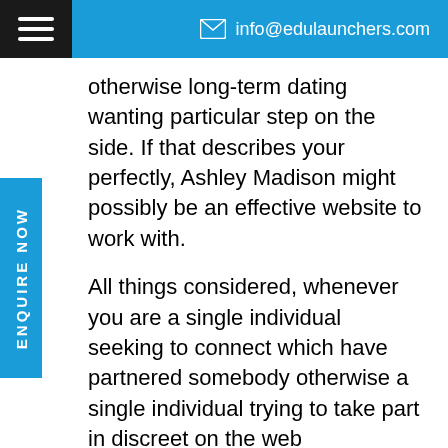info@edulaunchers.com
otherwise long-term dating wanting particular step on the side. If that describes your perfectly, Ashley Madison might possibly be an effective website to work with.
All things considered, whenever you are a single individual seeking to connect which have partnered somebody otherwise a single individual trying to take part in discreet on the web relationships, Ashley Madison should be thought about too. Indeed there cannot seem to be people seeking to big relationships towards the which application although.
For t...